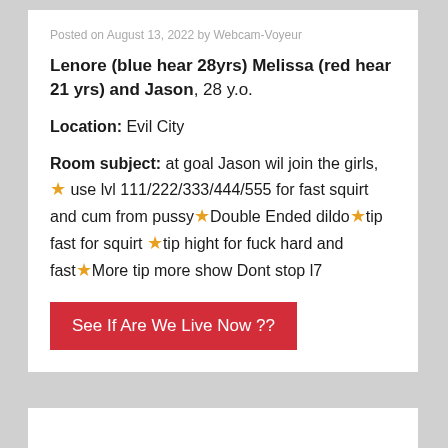Posted on August 13, 2022 by Webcam-Voyeur
Lenore (blue hear 28yrs) Melissa (red hear 21 yrs) and Jason, 28 y.o.
Location: Evil City
Room subject: at goal Jason wil join the girls, ★ use lvl 111/222/333/444/555 for fast squirt and cum from pussy★Double Ended dildo★tip fast for squirt ★tip hight for fuck hard and fast★More tip more show Dont stop l7
See If Are We Live Now ??